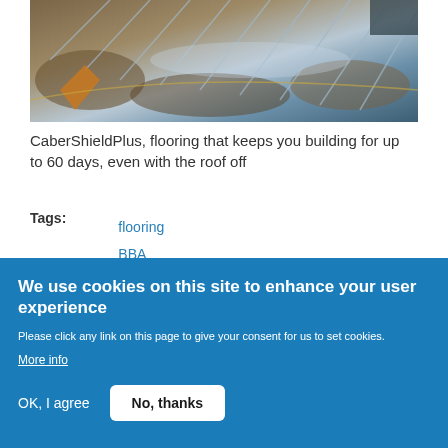[Figure (photo): Construction site photo showing flooring material being installed with wet ground/mud visible and corrugated sheeting]
CaberShieldPlus, flooring that keeps you building for up to 60 days, even with the roof off
Tags: flooring BBA Norbord refurbishment
We use cookies on this site to enhance your user experience
Please click any link on this page to give your consent for us to set cookies.
More info
OK, I agree    No, thanks